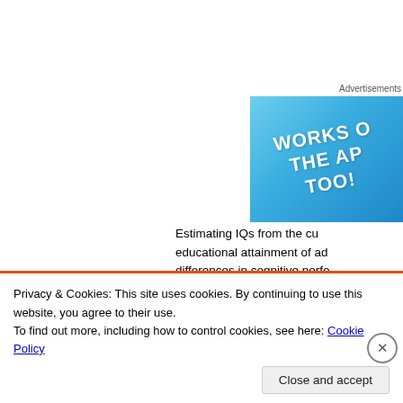[Figure (other): Advertisement banner with blue gradient background and text 'WORKS ON THE APP TOO!' in white bold italic letters]
Estimating IQs from the cu educational attainment of ad differences in cognitive perfo countries that developed the f education/IQ favoring the you South America, Southern Eu
Privacy & Cookies: This site uses cookies. By continuing to use this website, you agree to their use.
To find out more, including how to control cookies, see here: Cookie Policy
Close and accept